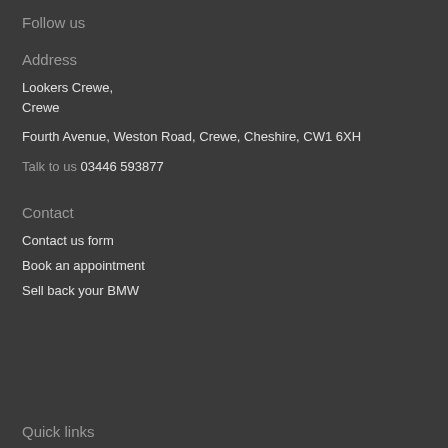Follow us
Address
Lookers Crewe,
Crewe
Fourth Avenue, Weston Road, Crewe, Cheshire, CW1 6XH
Talk to us 03446 593877
Contact
Contact us form
Book an appointment
Sell back your BMW
Quick links